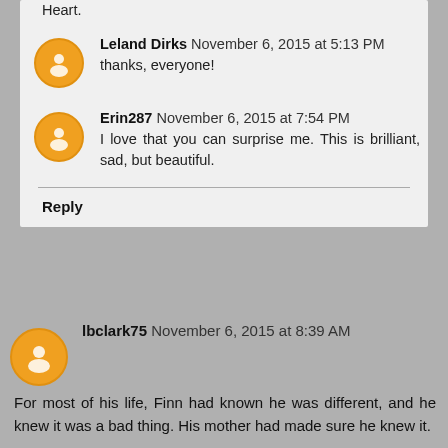Heart.
Leland Dirks  November 6, 2015 at 5:13 PM
thanks, everyone!
Erin287  November 6, 2015 at 7:54 PM
I love that you can surprise me. This is brilliant, sad, but beautiful.
Reply
lbclark75  November 6, 2015 at 8:39 AM
For most of his life, Finn had known he was different, and he knew it was a bad thing. His mother had made sure he knew it.
At first, he'd been determined to prove her right. He took up